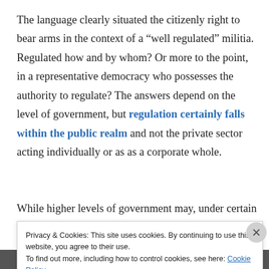The language clearly situated the citizenly right to bear arms in the context of a “well regulated” militia. Regulated how and by whom? Or more to the point, in a representative democracy who possesses the authority to regulate? The answers depend on the level of government, but regulation certainly falls within the public realm and not the private sector acting individually or as as a corporate whole.
While higher levels of government may, under certain conditions, pre-empt lower-level regulations, the
Privacy & Cookies: This site uses cookies. By continuing to use this website, you agree to their use.
To find out more, including how to control cookies, see here: Cookie Policy